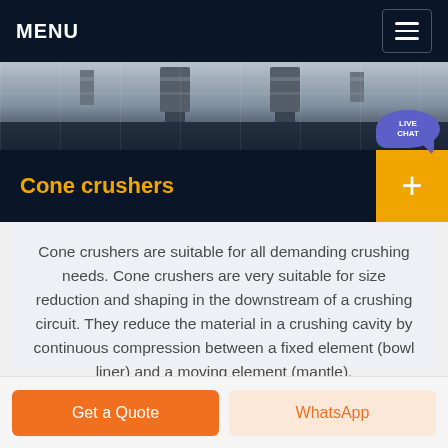MENU
[Figure (photo): Industrial equipment / ceiling photo, partially visible, dark tones with overhead machinery]
Cone crushers
Cone crushers are suitable for all demanding crushing needs. Cone crushers are very suitable for size reduction and shaping in the downstream of a crushing circuit. They reduce the material in a crushing cavity by continuous compression between a fixed element (bowl liner) and a moving element (mantle).
Get a Quote | WhatsApp